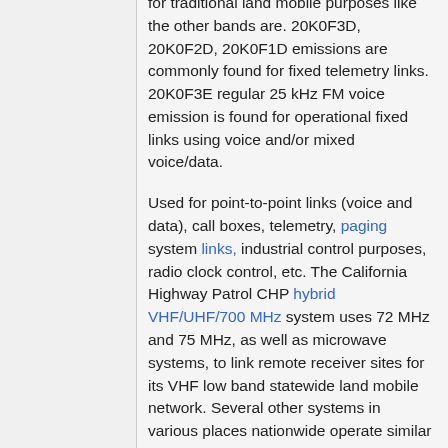for traditional land mobile purposes like the other bands are. 20K0F3D, 20K0F2D, 20K0F1D emissions are commonly found for fixed telemetry links. 20K0F3E regular 25 kHz FM voice emission is found for operational fixed links using voice and/or mixed voice/data.
Used for point-to-point links (voice and data), call boxes, telemetry, paging system links, industrial control purposes, radio clock control, etc. The California Highway Patrol CHP hybrid VHF/UHF/700 MHz system uses 72 MHz and 75 MHz, as well as microwave systems, to link remote receiver sites for its VHF low band statewide land mobile network. Several other systems in various places nationwide operate similar systems using the mid band for linking remote sites and providing back-haul audio link capability. The 72 MHz frequencies are also heavily used for low power point-to-point data links, for example controlling a GPS-based clock system. These systems generally transmit in the 2-10 watt range and cover schools, college campuses, manufacturing sites, etc. The 74 MHz and 75 MHz...